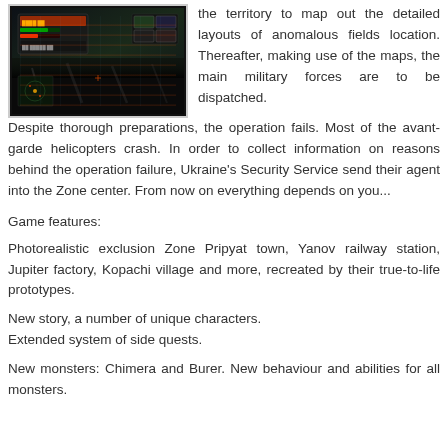[Figure (screenshot): Screenshot of a video game (S.T.A.L.K.E.R.) showing a dark, atmospheric game environment with UI elements]
the territory to map out the detailed layouts of anomalous fields location. Thereafter, making use of the maps, the main military forces are to be dispatched. Despite thorough preparations, the operation fails. Most of the avant-garde helicopters crash. In order to collect information on reasons behind the operation failure, Ukraine's Security Service send their agent into the Zone center. From now on everything depends on you...
Game features:
Photorealistic exclusion Zone Pripyat town, Yanov railway station, Jupiter factory, Kopachi village and more, recreated by their true-to-life prototypes.
New story, a number of unique characters.
Extended system of side quests.
New monsters: Chimera and Burer. New behaviour and abilities for all monsters.